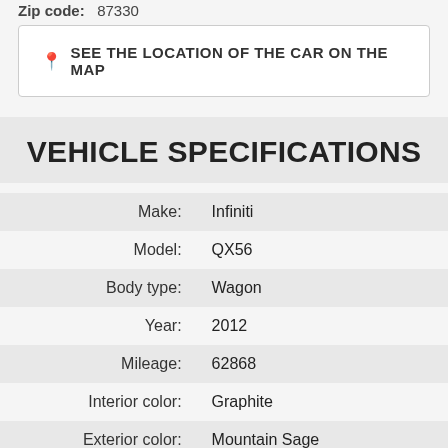Zip code:   87330
📍 SEE THE LOCATION OF THE CAR ON THE MAP
VEHICLE SPECIFICATIONS
| Field | Value |
| --- | --- |
| Make: | Infiniti |
| Model: | QX56 |
| Body type: | Wagon |
| Year: | 2012 |
| Mileage: | 62868 |
| Interior color: | Graphite |
| Exterior color: | Mountain Sage |
| Transmission: | Automatic |